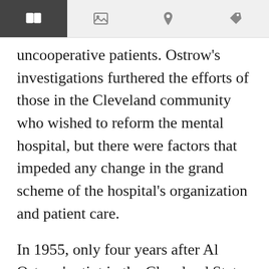[toolbar navigation icons]
uncooperative patients. Ostrow's investigations furthered the efforts of those in the Cleveland community who wished to reform the mental hospital, but there were factors that impeded any change in the grand scheme of the hospital's organization and patient care.
In 1955, only four years after Al Ostrow's stint in the Cleveland State Hospital as an aide, another Press reporter, Bus Bergen, was admitted as a patient. Previously, Bergen had gone undercover to pen an exposé on prison